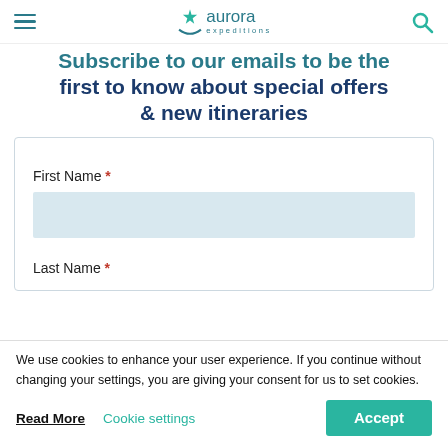Aurora Expeditions
Subscribe to our emails to be the first to know about special offers & new itineraries
First Name *
Last Name *
We use cookies to enhance your user experience. If you continue without changing your settings, you are giving your consent for us to set cookies.
Read More
Cookie settings
Accept